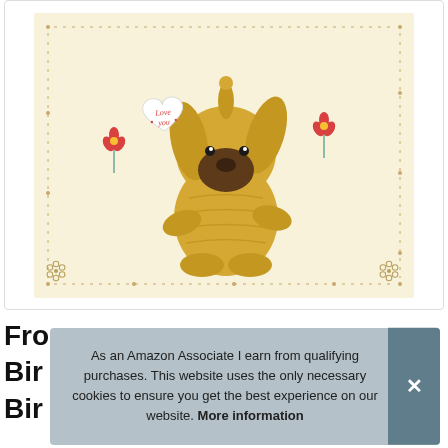[Figure (photo): A greeting card showing a cute knitted/crocheted yellow dog toy holding a heart-shaped sign that says 'Love you', with small red flowers on a cream/pale yellow background with a dotted border and small flower decorations at the corners. Displayed inside a white card frame with a thin border.]
Fro
Bir
Bir
As an Amazon Associate I earn from qualifying purchases. This website uses the only necessary cookies to ensure you get the best experience on our website. More information